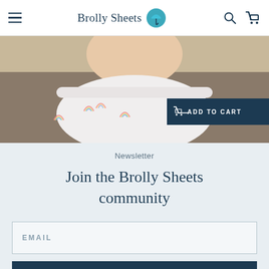Brolly Sheets
[Figure (photo): Child wearing white diaper/nappy with rainbow prints, photographed from behind, on a carpeted floor. An 'ADD TO CART' button overlay is visible on the right side.]
Newsletter
Join the Brolly Sheets community
EMAIL